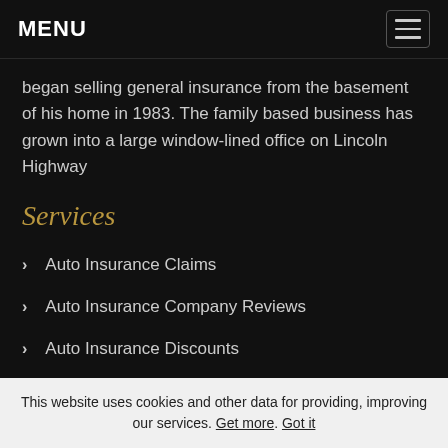MENU
began selling general insurance from the basement of his home in 1983. The family based business has grown into a large window-lined office on Lincoln Highway
Services
Auto Insurance Claims
Auto Insurance Company Reviews
Auto Insurance Discounts
Auto Insurance FAQ
This website uses cookies and other data for providing, improving our services. Get more. Got it